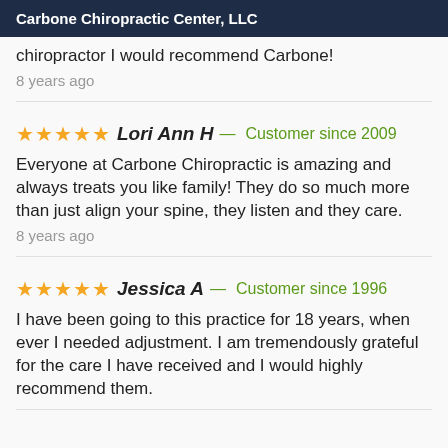Carbone Chiropractic Center, LLC
chiropractor I would recommend Carbone!
8 years ago
★★★★★ Lori Ann H — Customer since 2009
Everyone at Carbone Chiropractic is amazing and always treats you like family! They do so much more than just align your spine, they listen and they care.
8 years ago
★★★★★ Jessica A — Customer since 1996
I have been going to this practice for 18 years, when ever I needed adjustment. I am tremendously grateful for the care I have received and I would highly recommend them.